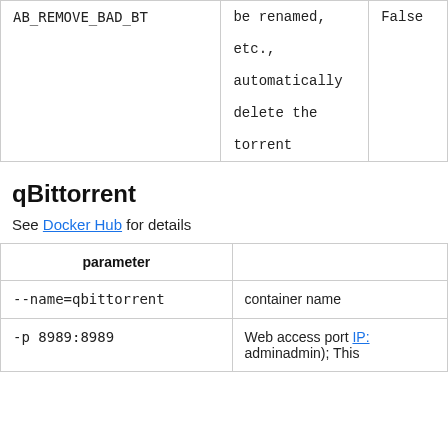|  |  |  |
| --- | --- | --- |
| AB_REMOVE_BAD_BT | be renamed, etc., automatically delete the torrent | False |
qBittorrent
See Docker Hub for details
| parameter |  |
| --- | --- |
| --name=qbittorrent | container name |
| -p 8989:8989 | Web access port IP: adminadmin); This |